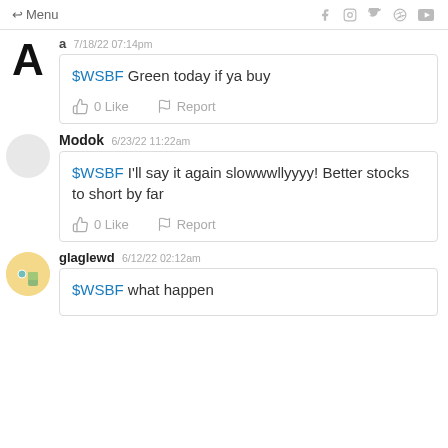← Menu  [social icons: f, instagram, twitter, pinterest, youtube]
a 7/18/22 07:14pm — $WSBF Green today if ya buy — 0 Like  Report
Modok 6/23/22 11:22am — $WSBF I'll say it again slowwwllyyyy! Better stocks to short by far — 0 Like  Report
glaglewd 6/12/22 02:12am — $WSBF what happen